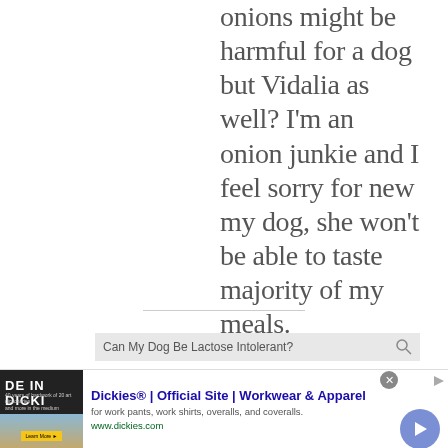onions might be harmful for a dog but Vidalia as well? I'm an onion junkie and I feel sorry for new my dog, she won't be able to taste majority of my meals.
[Figure (screenshot): Search bar showing 'Can My Dog Be Lactose Intolerant?']
[Figure (screenshot): Dickies advertisement banner: Dickies Official Site, Workwear & Apparel, for work pants, work shirts, overalls, and coveralls. www.dickies.com]